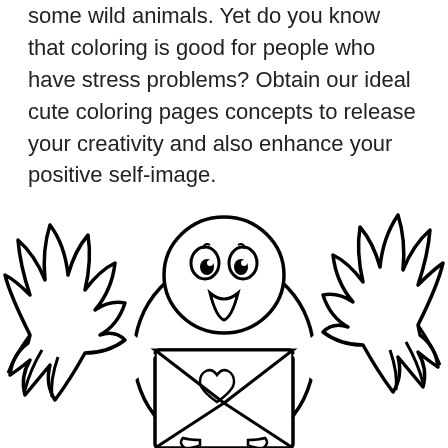some wild animals. Yet do you know that coloring is good for people who have stress problems? Obtain our ideal cute coloring pages concepts to release your creativity and also enhance your positive self-image.
[Figure (illustration): A cute cartoon bird (dove/pigeon) with large wings spread wide, holding an envelope in its beak/front. The illustration is a black-and-white line drawing suitable for a coloring page.]